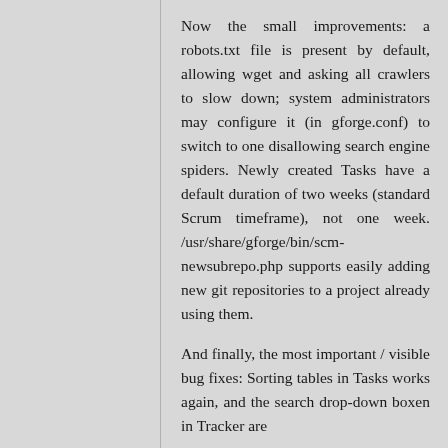Now the small improvements: a robots.txt file is present by default, allowing wget and asking all crawlers to slow down; system administrators may configure it (in gforge.conf) to switch to one disallowing search engine spiders. Newly created Tasks have a default duration of two weeks (standard Scrum timeframe), not one week. /usr/share/gforge/bin/scm-newsubrepo.php supports easily adding new git repositories to a project already using them.
And finally, the most important / visible bug fixes: Sorting tables in Tasks works again, and the search drop-down boxen in Tracker are